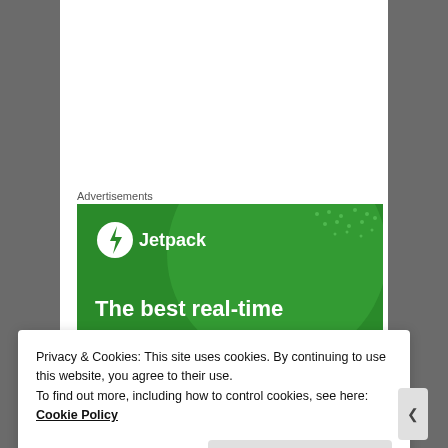Advertisements
[Figure (illustration): Jetpack advertisement banner on green background with large circle graphic. Shows Jetpack logo (lightning bolt in circle) and text 'The best real-time WordPress backup']
CATCHER
Privacy & Cookies: This site uses cookies. By continuing to use this website, you agree to their use.
To find out more, including how to control cookies, see here: Cookie Policy
Close and accept